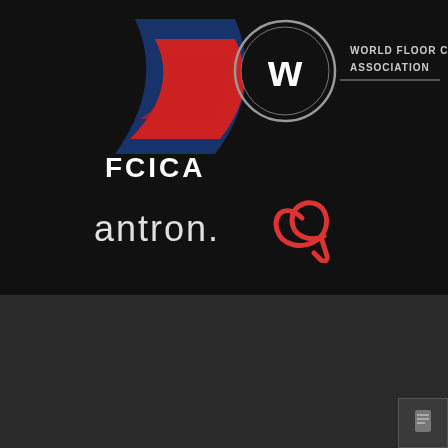[Figure (logo): FCICA logo - red and blue swoosh/chevron design with text FCICA]
[Figure (logo): World Floor Covering Association logo - circular W emblem with text WORLD FLOOR COVERING ASSOCIATION]
[Figure (logo): antron logo with stylized red double-loop icon]
[Figure (logo): Universal Metro logo in green metallic lettering with copyright 2022]
Our Services   Tramadol Uk Online   Contact Us   Disclaimer
Privacy Policy